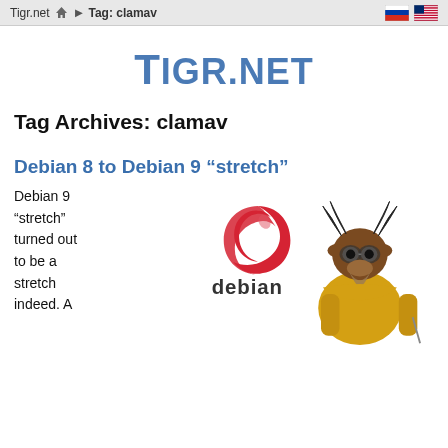Tigr.net > Tag: clamav
TIGR.NET
Tag Archives: clamav
Debian 8 to Debian 9 “stretch”
Debian 9 “stretch” turned out to be a stretch indeed. A
[Figure (illustration): Debian logo (swirl) with the word 'debian' below it, and a GNU wildebeest mascot character in a yellow coat]